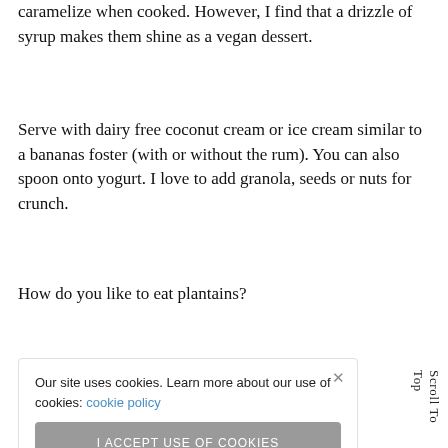caramelize when cooked. However, I find that a drizzle of syrup makes them shine as a vegan dessert.
Serve with dairy free coconut cream or ice cream similar to a bananas foster (with or without the rum). You can also spoon onto yogurt. I love to add granola, seeds or nuts for crunch.
How do you like to eat plantains?
[Figure (photo): Blurred photo background of food/plantains]
Our site uses cookies. Learn more about our use of cookies: cookie policy
I ACCEPT USE OF COOKIES
Scroll To Top